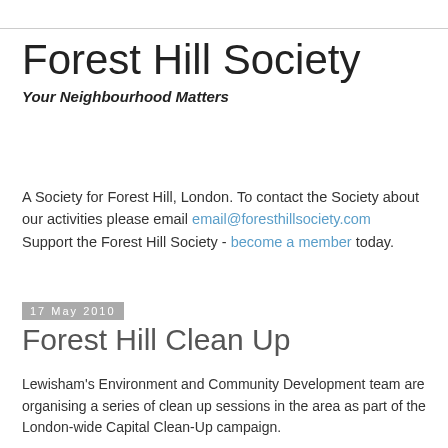Forest Hill Society
Your Neighbourhood Matters
A Society for Forest Hill, London. To contact the Society about our activities please email email@foresthillsociety.com
Support the Forest Hill Society - become a member today.
17 May 2010
Forest Hill Clean Up
Lewisham's Environment and Community Development team are organising a series of clean up sessions in the area as part of the London-wide Capital Clean-Up campaign.
The Capital Clean-Up Campaign aims to make London a cleaner, safer, greener capital fit to host the Olympics in 2012 and is supported by Keep Britain Tidy, 31 London boroughs, McDonald's and sponsors Enterprise.